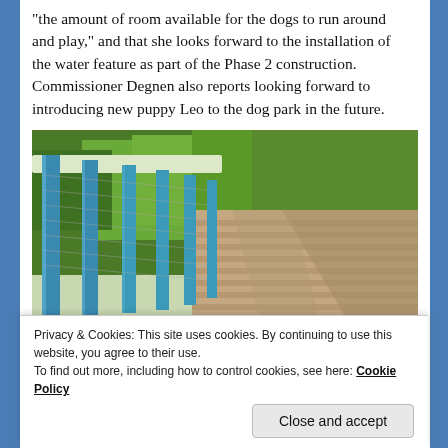“the amount of room available for the dogs to run around and play,” and that she looks forward to the installation of the water feature as part of the Phase 2 construction. Commissioner Degnen also reports looking forward to introducing new puppy Leo to the dog park in the future.
[Figure (photo): Photo of a dog park fence with blue metal railings and wire mesh, with green trees visible through the fence and a wooden deck/pathway surface with shadows.]
Privacy & Cookies: This site uses cookies. By continuing to use this website, you agree to their use. To find out more, including how to control cookies, see here: Cookie Policy